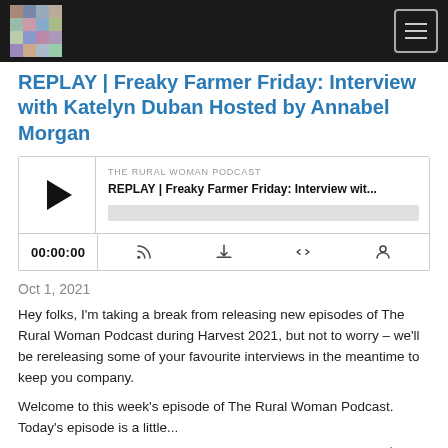[Figure (screenshot): Navigation bar with logo image on left and hamburger menu button on right, dark background]
REPLAY | Freaky Farmer Friday: Interview with Katelyn Duban Hosted by Annabel Morgan
[Figure (screenshot): Podcast audio player widget showing The Rural Woman Podcast, episode title 'REPLAY | Freaky Farmer Friday: Interview wit...', play button, progress bar, time 00:00:00, and control icons for RSS, download, embed, and share]
Oct 1, 2021
Hey folks, I'm taking a break from releasing new episodes of The Rural Woman Podcast during Harvest 2021, but not to worry – we'll be rereleasing some of your favourite interviews in the meantime to keep you company.
Welcome to this week's episode of The Rural Woman Podcast. Today's episode is a little...
Read More